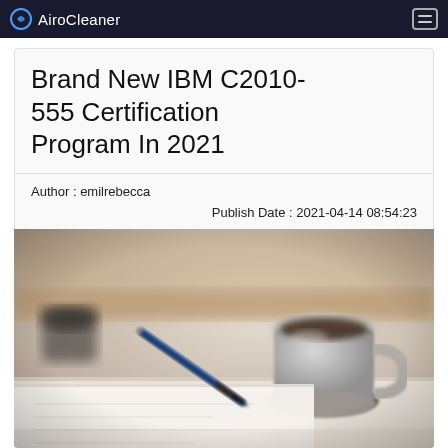AiroCleaner
Brand New IBM C2010-555 Certification Program In 2021
Author : emilrebecca
Publish Date : 2021-04-14 08:54:23
[Figure (photo): Close-up photo of a desk with a pen resting on paper and a mug of coffee in the background, blurred background with warm tones]